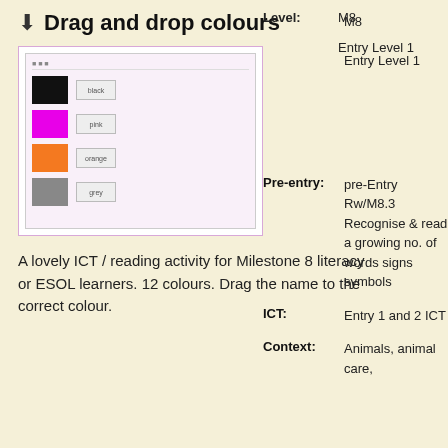Drag and drop colours
[Figure (screenshot): Screenshot of a drag and drop colours activity showing coloured swatches (black, magenta/pink, orange, grey) with label boxes next to them on a light pink background.]
A lovely ICT / reading activity for Milestone 8 literacy or ESOL learners. 12 colours. Drag the name to the correct colour.
Level: M8 Entry Level 1
Pre-entry: pre-Entry Rw/M8.3 Recognise & read a growing no. of words signs symbols
ICT: Entry 1 and 2 ICT
Context: Animals, animal care,